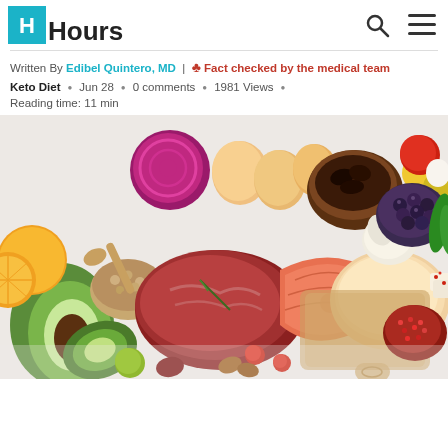Hours
Written By Edibel Quintero, MD | Fact checked by the medical team
Keto Diet • Jun 28 • 0 comments • 1981 Views •
Reading time: 11 min
[Figure (photo): Flat lay of keto diet foods including salmon steak, raw beef, chicken breast, avocado, eggs, blueberries, tomatoes, nuts, garlic, and various vegetables on a white background.]